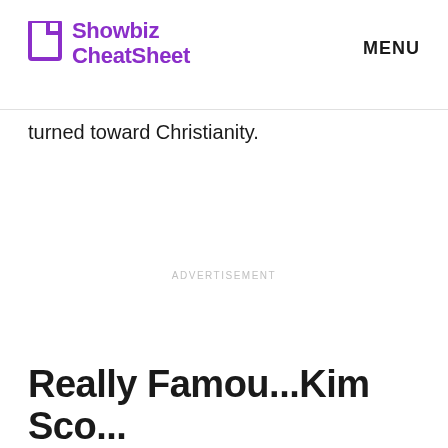Showbiz CheatSheet | MENU
turned toward Christianity.
ADVERTISEMENT
Really Famo...Kim Sco...